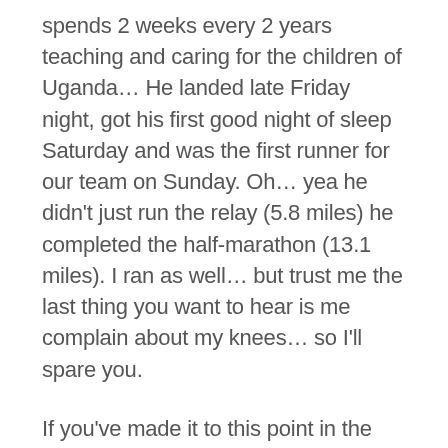spends 2 weeks every 2 years teaching and caring for the children of Uganda… He landed late Friday night, got his first good night of sleep Saturday and was the first runner for our team on Sunday. Oh… yea he didn't just run the relay (5.8 miles) he completed the half-marathon (13.1 miles). I ran as well… but trust me the last thing you want to hear is me complain about my knees… so I'll spare you.
If you've made it to this point in the blog… you might be asking yourself, why the heck am I reading about this operations team from Princeton? The truth is… the mortgage industry is just brutal. Everyone is on a time crunch